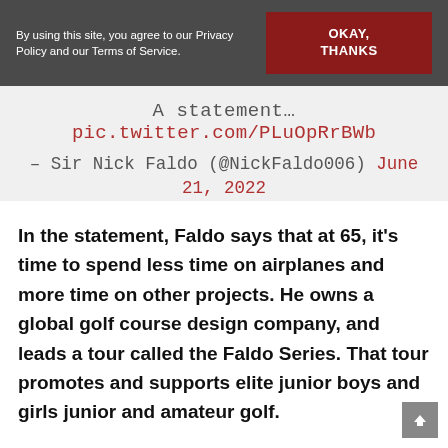By using this site, you agree to our Privacy Policy and our Terms of Service.
A statement… pic.twitter.com/PLuOpRrBWb
– Sir Nick Faldo (@NickFaldo006) June 21, 2022
In the statement, Faldo says that at 65, it's time to spend less time on airplanes and more time on other projects. He owns a global golf course design company, and leads a tour called the Faldo Series. That tour promotes and supports elite junior boys and girls junior and amateur golf.